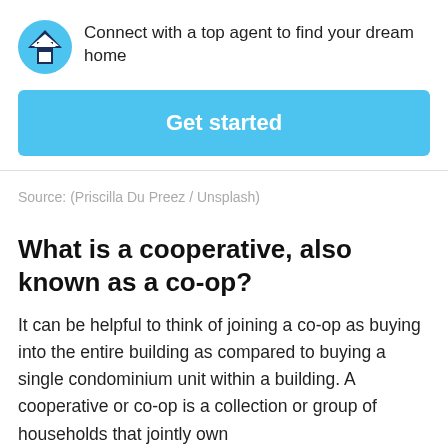[Figure (logo): HomeLight logo: blue circle with white chevron and house icon]
Connect with a top agent to find your dream home
Get started
Source: (Priscilla Du Preez / Unsplash)
What is a cooperative, also known as a co-op?
It can be helpful to think of joining a co-op as buying into the entire building as compared to buying a single condominium unit within a building. A cooperative or co-op is a collection or group of households that jointly own